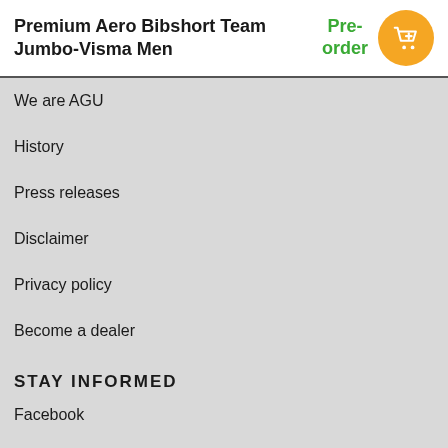Premium Aero Bibshort Team Jumbo-Visma Men
Pre-order
We are AGU
History
Press releases
Disclaimer
Privacy policy
Become a dealer
STAY INFORMED
Facebook
Instagram